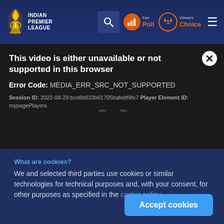[Figure (screenshot): Indian Premier League website header with IPL logo, search icon, Fan Poll button, Viewers Choice button, and hamburger menu on dark blue gradient background]
[Figure (screenshot): Video error message overlay on dark background: 'This video is either unavailable or not supported in this browser', Error Code: MEDIA_ERR_SRC_NOT_SUPPORTED, Session ID: 2022-08-29:bce8b833b61705bafebf9fe7, Player Element ID: mypagePlayers. Large faint X in background. White X close button top right.]
What are cookies?
We and selected third parties use cookies or similar technologies for technical purposes and, with your consent, for other purposes as specified in the cookie policy.
Accept cookies